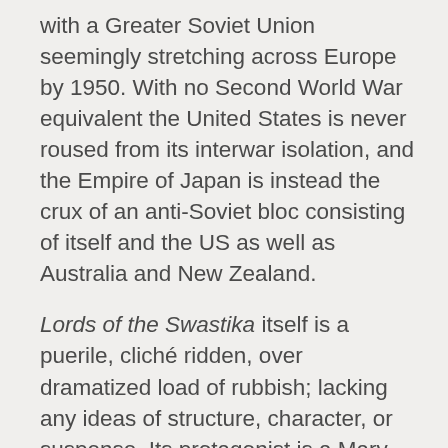with a Greater Soviet Union seemingly stretching across Europe by 1950. With no Second World War equivalent the United States is never roused from its interwar isolation, and the Empire of Japan is instead the crux of an anti-Soviet bloc consisting of itself and the US as well as Australia and New Zealand.
Lords of the Swastika itself is a puerile, cliché ridden, over dramatized load of rubbish; lacking any ideas of structure, character, or suspense. Its protagonist is a Mary Sue who starts out the story on the top of the world and soon obtains a ladder, Feric Jaggar returns from exile in Borgravia to his ancestral homelands in Heldon